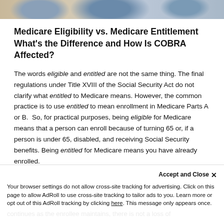[Figure (photo): Partial strip of a photo showing people, cropped at top of page]
Medicare Eligibility vs. Medicare Entitlement What’s the Difference and How Is COBRA Affected?
The words eligible and entitled are not the same thing. The final regulations under Title XVIII of the Social Security Act do not clarify what entitled to Medicare means. However, the common practice is to use entitled to mean enrollment in Medicare Parts A or B.  So, for practical purposes, being eligible for Medicare means that a person can enroll because of turning 65 or, if a person is under 65, disabled, and receiving Social Security benefits. Being entitled for Medicare means you have already enrolled.
Medicare entitlement is not a COBRA-qualifying event because it does not cause loss of employer plan coverage. Think of it this way: if someone turns [faded]
Your browser settings do not allow cross-site tracking for advertising. Click on this page to allow AdRoll to use cross-site tracking to tailor ads to you. Learn more or opt out of this AdRoll tracking by clicking here. This message only appears once.